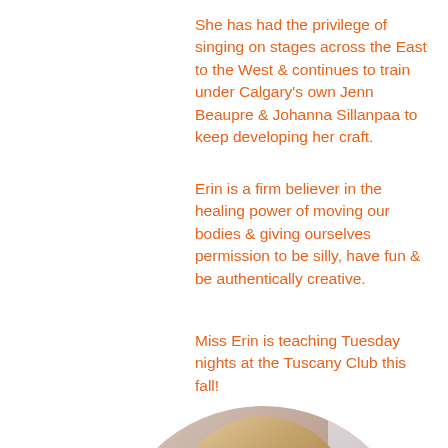She has had the privilege of singing on stages across the East to the West & continues to train under Calgary's own Jenn Beaupre & Johanna Sillanpaa to keep developing her craft.
Erin is a firm believer in the healing power of moving our bodies & giving ourselves permission to be silly, have fun & be authentically creative.
Miss Erin is teaching Tuesday nights at the Tuscany Club this fall!
[Figure (photo): Circular cropped portrait photo of a young blonde woman smiling, wearing a dark top, with a blurred indoor background]